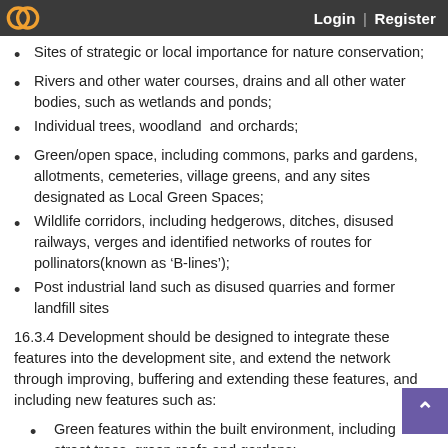Login | Register
Sites of strategic or local importance for nature conservation;
Rivers and other water courses, drains and all other water bodies, such as wetlands and ponds;
Individual trees, woodland  and orchards;
Green/open space, including commons, parks and gardens, allotments, cemeteries, village greens, and any sites designated as Local Green Spaces;
Wildlife corridors, including hedgerows, ditches, disused railways, verges and identified networks of routes for pollinators(known as 'B-lines');
Post industrial land such as disused quarries and former landfill sites
16.3.4 Development should be designed to integrate these features into the development site, and extend the network through improving, buffering and extending these features, and including new features such as:
Green features within the built environment, including street trees, green roofs and gardens;
Choice of landscaping design and species composition